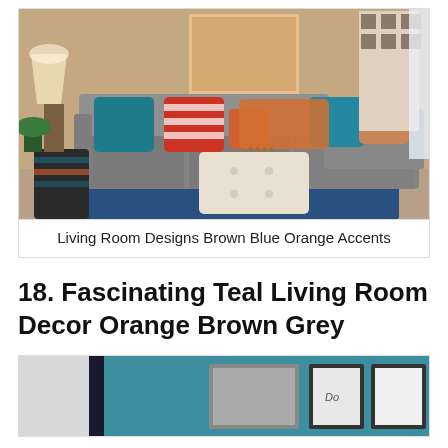[Figure (photo): Living room interior with grey sectional sofa, teal and orange/red striped throw pillows, orange blanket, white tufted ottoman, decorative side table with lamp, blue patterned area rug, and artwork on walls.]
Living Room Designs Brown Blue Orange Accents
18. Fascinating Teal Living Room Decor Orange Brown Grey
[Figure (photo): Teal painted living room with framed artwork gallery wall visible.]